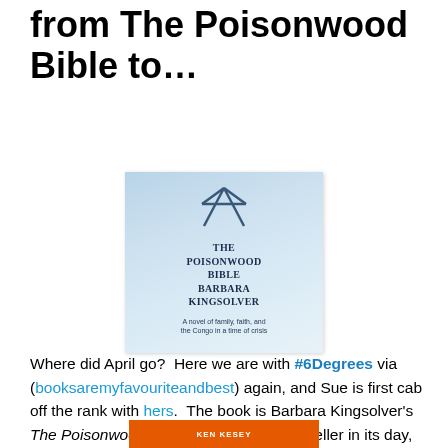from The Poisonwood Bible to…
[Figure (photo): Book cover of The Poisonwood Bible by Barbara Kingsolver — light blue cover with cross graphic and bold title text]
Where did April go?  Here we are with #6Degrees via (booksaremyfavouriteandbest) again, and Sue is first cab off the rank with hers.  The book is Barbara Kingsolver's The Poisonwood Bible which was a bestseller in its day, and with good reason.
[Figure (photo): Partial view of orange book cover with author name KEN KESEY]